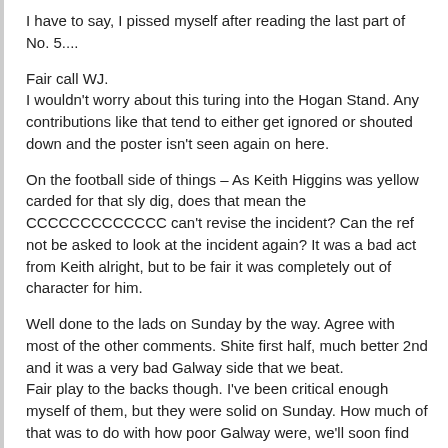I have to say, I pissed myself after reading the last part of No. 5....
Fair call WJ.
I wouldn't worry about this turing into the Hogan Stand. Any contributions like that tend to either get ignored or shouted down and the poster isn't seen again on here.
On the football side of things – As Keith Higgins was yellow carded for that sly dig, does that mean the CCCCCCCCCCCCC can't revise the incident? Can the ref not be asked to look at the incident again? It was a bad act from Keith alright, but to be fair it was completely out of character for him.
Well done to the lads on Sunday by the way. Agree with most of the other comments. Shite first half, much better 2nd and it was a very bad Galway side that we beat.
Fair play to the backs though. I've been critical enough myself of them, but they were solid on Sunday. How much of that was to do with how poor Galway were, we'll soon find out. But only fair to give them credit.